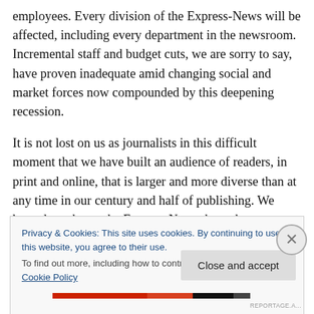employees. Every division of the Express-News will be affected, including every department in the newsroom. Incremental staff and budget cuts, we are sorry to say, have proven inadequate amid changing social and market forces now compounded by this deepening recession.
It is not lost on us as journalists in this difficult moment that we have built an audience of readers, in print and online, that is larger and more diverse than at any time in our century and half of publishing. We have done that at the Express-News through a commitment to excellence and
Privacy & Cookies: This site uses cookies. By continuing to use this website, you agree to their use.
To find out more, including how to control cookies, see here: Cookie Policy
Close and accept